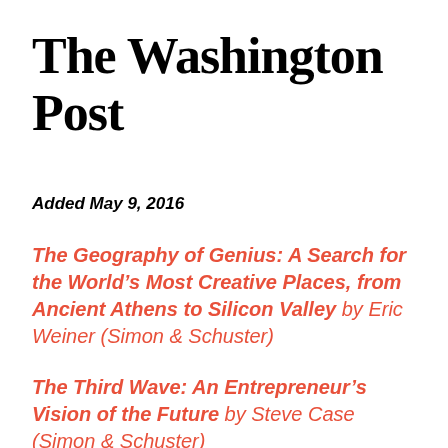The Washington Post
Added May 9, 2016
The Geography of Genius: A Search for the World's Most Creative Places, from Ancient Athens to Silicon Valley by Eric Weiner (Simon & Schuster)
The Third Wave: An Entrepreneur's Vision of the Future by Steve Case (Simon & Schuster)